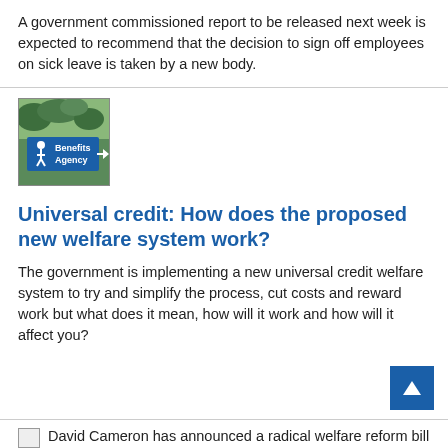A government commissioned report to be released next week is expected to recommend that the decision to sign off employees on sick leave is taken by a new body.
[Figure (photo): Photo of a Benefits Agency road sign with a walking person icon, blue sign with white text, trees visible in background]
Universal credit: How does the proposed new welfare system work?
The government is implementing a new universal credit welfare system to try and simplify the process, cut costs and reward work but what does it mean, how will it work and how will it affect you?
[Figure (photo): Partially visible image: David Cameron has announced a radical welfare reform bill]